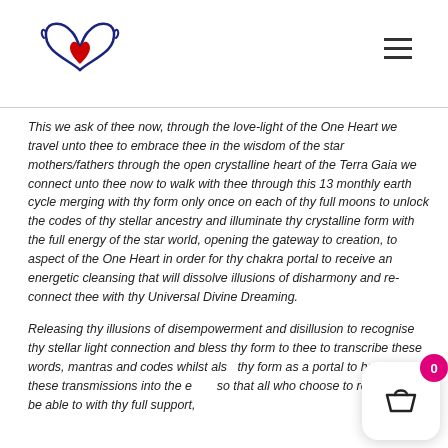[Figure (logo): Wing-shaped logo with a red heart in the center, blue wing outlines]
This we ask of thee now, through the love-light of the One Heart we travel unto thee to embrace thee in the wisdom of the star mothers/fathers through the open crystalline heart of the Terra Gaia we connect unto thee now to walk with thee through this 13 monthly earth cycle merging with thy form only once on each of thy full moons to unlock the codes of thy stellar ancestry and illuminate thy crystalline form with the full energy of the star world, opening the gateway to creation, to aspect of the One Heart in order for thy chakra portal to receive an energetic cleansing that will dissolve illusions of disharmony and re-connect thee with thy Universal Divine Dreaming.
Releasing thy illusions of disempowerment and disillusion to recognise thy stellar light connection and bless thy form to thee to transcribe these words, mantras and codes whilst also thy form as a portal to harness these transmissions into the e so that all who choose to receive will be able to with thy full support,
[Figure (illustration): Shopping cart icon in a white rounded rectangle with a pink/magenta badge showing 0]